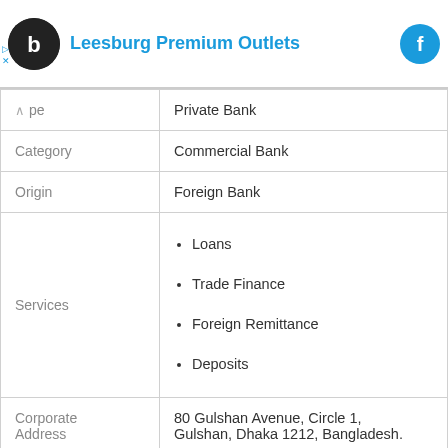[Figure (screenshot): Ad banner for Leesburg Premium Outlets with circular logo and blue Facebook icon]
| Field | Value |
| --- | --- |
| Type | Private Bank |
| Category | Commercial Bank |
| Origin | Foreign Bank |
| Services | Loans
Trade Finance
Foreign Remittance
Deposits |
| Corporate Address | 80 Gulshan Avenue, Circle 1, Gulshan, Dhaka 1212, Bangladesh. |
| Telephone | +880 29881205, 9894861 |